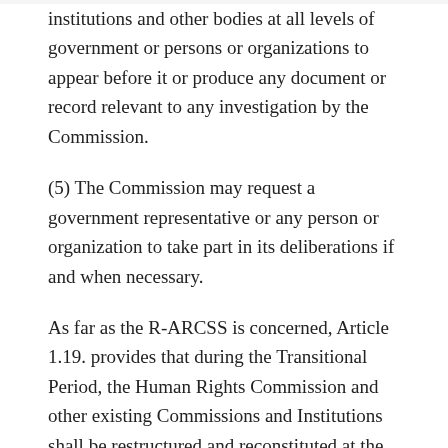institutions and other bodies at all levels of government or persons or organizations to appear before it or produce any document or record relevant to any investigation by the Commission.
(5) The Commission may request a government representative or any person or organization to take part in its deliberations if and when necessary.
As far as the R-ARCSS is concerned, Article 1.19. provides that during the Transitional Period, the Human Rights Commission and other existing Commissions and Institutions shall be restructured and reconstituted at the national level, as provided for in the R-ARCSS and that the Executive shall supervise and facilitate the reforms and reconstitutions of the Commissions and Institutions “paying particular attention to the mandate and appointments, to ensure their